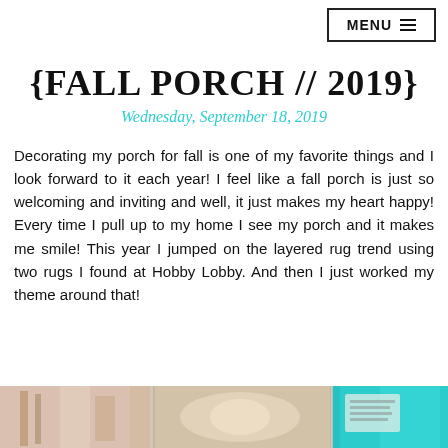MENU ≡
{FALL PORCH // 2019}
Wednesday, September 18, 2019
Decorating my porch for fall is one of my favorite things and I look forward to it each year! I feel like a fall porch is just so welcoming and inviting and well, it just makes my heart happy! Every time I pull up to my home I see my porch and it makes me smile! This year I jumped on the layered rug trend using two rugs I found at Hobby Lobby. And then I just worked my theme around that!
[Figure (photo): Bottom strip showing partial photo of a porch scene with teal and neutral tones]